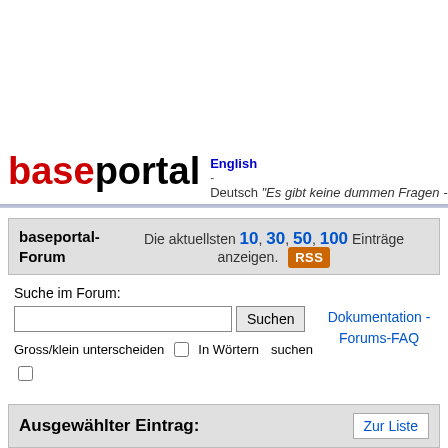[Figure (screenshot): baseportal website header with logo and language links]
baseportal | English - Deutsch "Es gibt keine dummen Fragen - jeder ha
baseportal-Forum
Die aktuellsten 10, 30, 50, 100 Einträge anzeigen. RSS
Suche im Forum:
Gross/klein unterscheiden [ ] In Wörtern suchen [ ]
Dokumentation - Forums-FAQ
Neuen Eintrag schreiben
Ausgewählter Eintrag:
Zur Liste